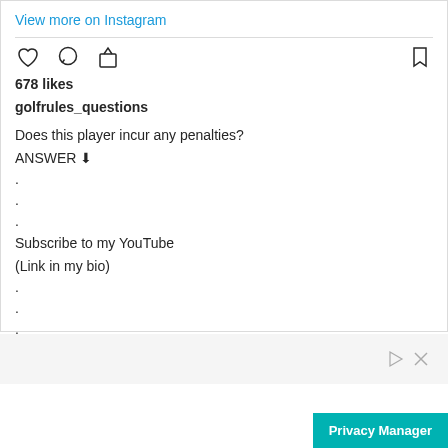View more on Instagram
[Figure (screenshot): Instagram action icons: heart (like), comment bubble, share arrow on left; bookmark on right]
678 likes
golfrules_questions
Does this player incur any penalties?
ANSWER ⬇
.
.
.
Subscribe to my YouTube
(Link in my bio)
.
.
.
Answer:
[Figure (screenshot): Ad bar with play and close icons, and Privacy Manager button]